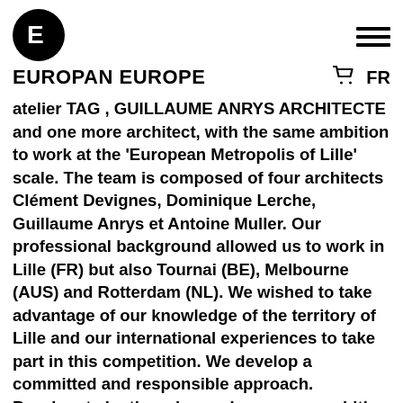EUROPAN EUROPE
atelier TAG , GUILLAUME ANRYS ARCHITECTE and one more architect, with the same ambition to work at the 'European Metropolis of Lille' scale. The team is composed of four architects Clément Devignes, Dominique Lerche, Guillaume Anrys et Antoine Muller. Our professional background allowed us to work in Lille (FR) but also Tournai (BE), Melbourne (AUS) and Rotterdam (NL). We wished to take advantage of our knowledge of the territory of Lille and our international experiences to take part in this competition. We develop a committed and responsible approach. Passionate by the urban universe, our ambition is to question the city and its processes of design.